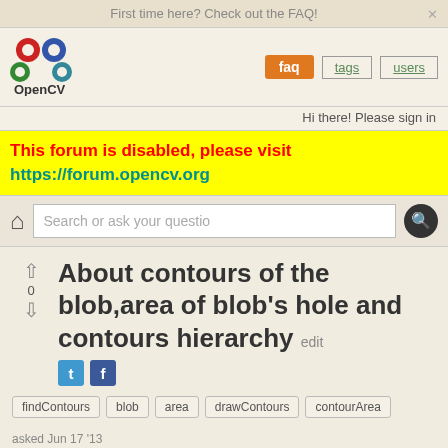First time here? Check out the FAQ!
[Figure (logo): OpenCV logo - red, blue, green circles]
faq   tags   users   Hi there! Please sign in
This forum is disabled, please visit https://forum.opencv.org
Search or ask your question
About contours of the blob,area of blob's hole and contours hierarchy
findContours
blob
area
drawContours
contourArea
asked Jun 17 '13